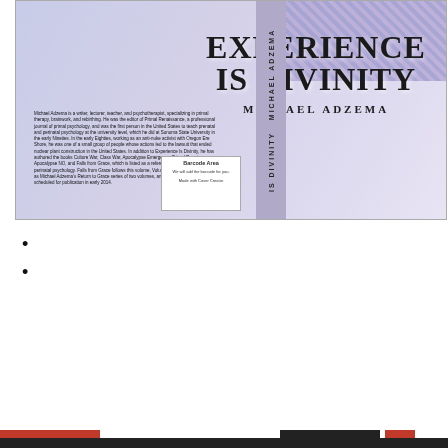[Figure (photo): Book cover of 'Experience Is Divinity' by Michael Adzema, showing the title in large serif font on the right side, author bio text on the left back cover, a barcode area box, and a mosaic of photos in the top-right corner. The cover has a lavender/purple gradient background.]
Privacy & Cookies: This site uses cookies. By continuing to use this website, you agree to their use.
To find out more, including how to control cookies, see here: Cookie Policy
Close and accept